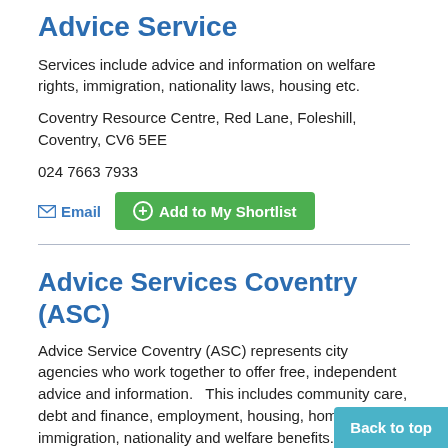Advice Service
Services include advice and information on welfare rights, immigration, nationality laws, housing etc.
Coventry Resource Centre, Red Lane, Foleshill, Coventry, CV6 5EE
024 7663 7933
Email   Add to My Shortlist
Advice Services Coventry (ASC)
Advice Service Coventry (ASC) represents city agencies who work together to offer free, independent advice and information.   This includes community care, debt and finance, employment, housing, homeless, immigration, nationality and welfare benefits.
Back to top